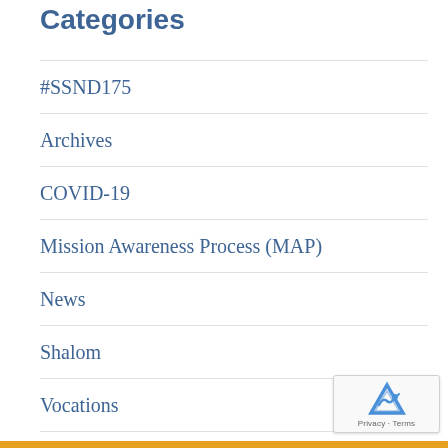Categories
#SSND175
Archives
COVID-19
Mission Awareness Process (MAP)
News
Shalom
Vocations